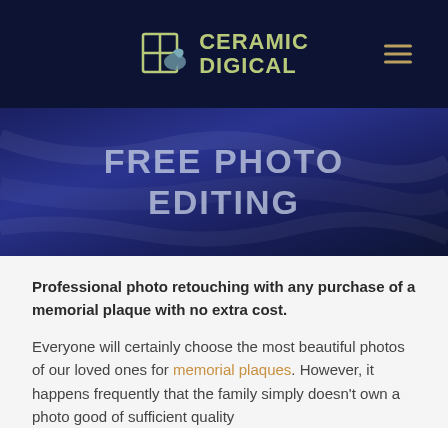Ceramic Digical
FREE PHOTO EDITING
Professional photo retouching with any purchase of a memorial plaque with no extra cost.
Everyone will certainly choose the most beautiful photos of our loved ones for memorial plaques. However, it happens frequently that the family simply doesn't own a photo good of sufficient quality